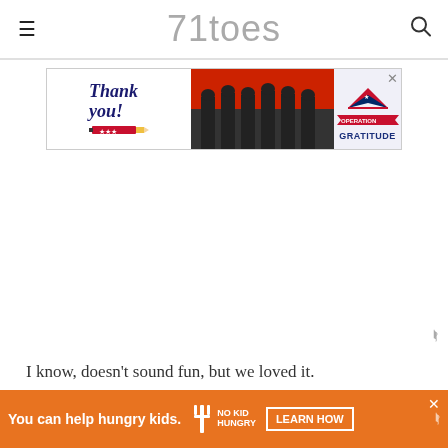71toes
[Figure (illustration): Advertisement banner: 'Thank you!' with pencil graphic on left, firefighter group photo in middle, Operation Gratitude logo on right. Has close (X) button.]
I know, doesn't sound fun, but we loved it.
Love this snow girl.
[Figure (illustration): Advertisement bar at bottom: orange background with 'You can help hungry kids.' text and No Kid Hungry logo and 'LEARN HOW' button.]